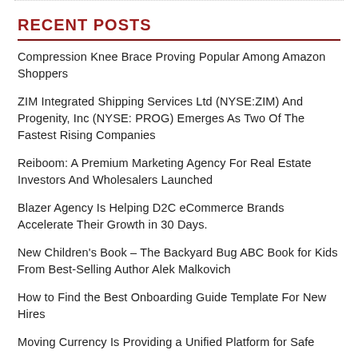RECENT POSTS
Compression Knee Brace Proving Popular Among Amazon Shoppers
ZIM Integrated Shipping Services Ltd (NYSE:ZIM) And Progenity, Inc (NYSE: PROG) Emerges As Two Of The Fastest Rising Companies
Reiboom: A Premium Marketing Agency For Real Estate Investors And Wholesalers Launched
Blazer Agency Is Helping D2C eCommerce Brands Accelerate Their Growth in 30 Days.
New Children's Book – The Backyard Bug ABC Book for Kids From Best-Selling Author Alek Malkovich
How to Find the Best Onboarding Guide Template For New Hires
Moving Currency Is Providing a Unified Platform for Safe